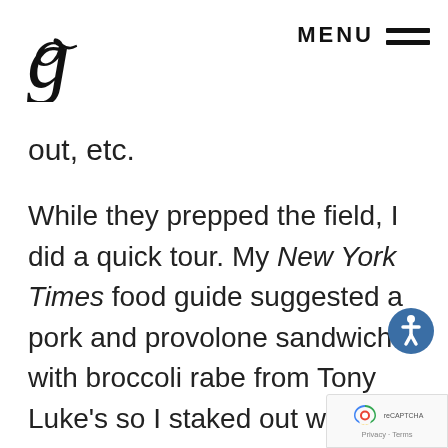g   MENU
out, etc.
While they prepped the field, I did a quick tour. My New York Times food guide suggested a pork and provolone sandwich with broccoli rabe from Tony Luke's so I staked out where I might be able to obtain what would ultimately be my dinner. As I walked around, I immediately noticed the great site li... The wide open breezeways were fu...